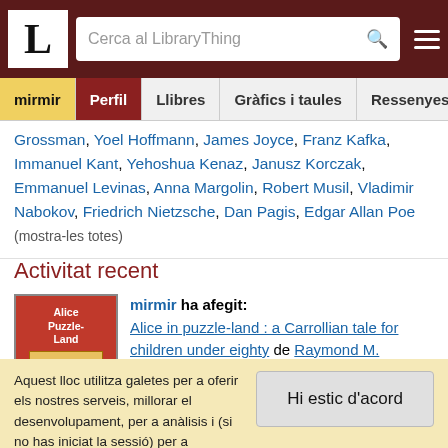LibraryThing - Cerca al LibraryThing
Grossman, Yoel Hoffmann, James Joyce, Franz Kafka, Immanuel Kant, Yehoshua Kenaz, Janusz Korczak, Emmanuel Levinas, Anna Margolin, Robert Musil, Vladimir Nabokov, Friedrich Nietzsche, Dan Pagis, Edgar Allan Poe (mostra-les totes)
Activitat recent
mirmir ha afegit:
[Figure (illustration): Book cover of Alice Puzzle-Land by Raymond M. Smullyan, red cover]
Alice in puzzle-land : a Carrollian tale for children under eighty de Raymond M. Smullyan
Aquest lloc utilitza galetes per a oferir els nostres serveis, millorar el desenvolupament, per a anàlisis i (si no has iniciat la sessió) per a publicitat. Utilitzant LibraryThing acceptes que has llegit i entès els nostres Termes de servei i política de privacitat. L'ús que facis del lloc i dels seus serveis està subjecte a aquestes polítiques i termes.